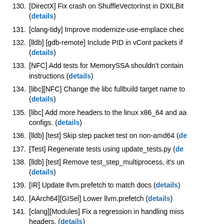130. [DirectX] Fix crash on ShuffleVectorInst in DXILBit... (details)
131. [clang-tidy] Improve modernize-use-emplace chec...
132. [lldb] [gdb-remote] Include PID in vCont packets if... (details)
133. [NFC] Add tests for MemorySSA shouldn't contain... instructions (details)
134. [libc][NFC] Change the libc fullbuild target name to... (details)
135. [libc] Add more headers to the linux x86_64 and aa... configs. (details)
136. [lldb] [test] Skip step packet test on non-amd64 (de...
137. [Test] Regenerate tests using update_tests.py (de...
138. [lldb] [test] Remove test_step_multiprocess, it's un... (details)
139. [IR] Update llvm.prefetch to match docs (details)
140. [AArch64][GISel] Lower llvm.prefetch (details)
141. [clang][Modules] Fix a regression in handling miss... headers. (details)
142. [LangRef][VP] Fix typo. (details)
143. [clang-tidy] Do not trigger cppcoreguidelines-avoid...